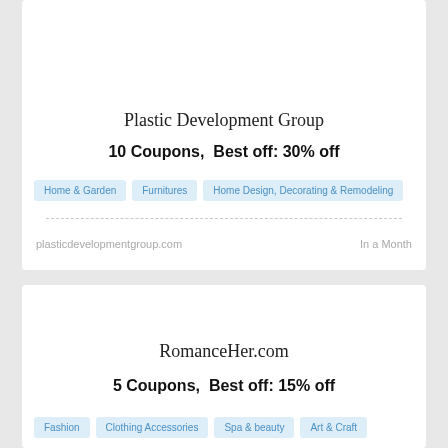Plastic Development Group
10 Coupons,  Best off: 30% off
Home & Garden
Furnitures
Home Design, Decorating & Remodeling
plasticdevelopmentgroup.com
In a Month
RomanceHer.com
5 Coupons,  Best off: 15% off
Fashion
Clothing Accessories
Spa & beauty
Art & Craft